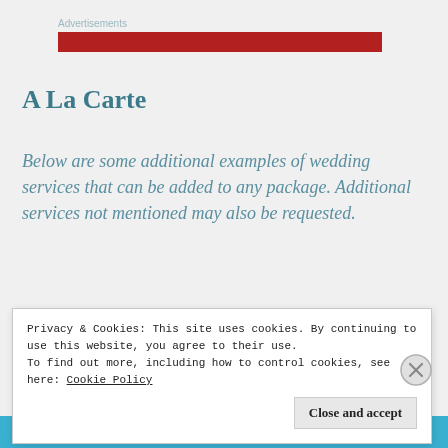[Figure (other): Advertisement banner — red horizontal bar with label 'Advertisements' above it]
A La Carte
Below are some additional examples of wedding services that can be added to any package. Additional services not mentioned may also be requested.
Privacy & Cookies: This site uses cookies. By continuing to use this website, you agree to their use.
To find out more, including how to control cookies, see here: Cookie Policy
Close and accept